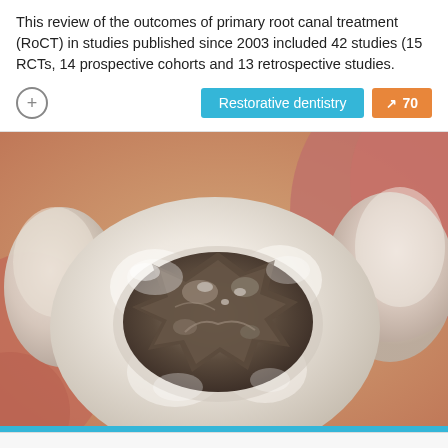(RoCT) in studies published since 2003 included 42 studies (15 RCTs, 14 prospective cohorts and 13 retrospective studies.
[Figure (photo): Close-up macro photograph of a molar tooth with a dark amalgam (metal) filling on the occlusal surface, surrounded by other teeth and gum tissue in warm pinkish tones.]